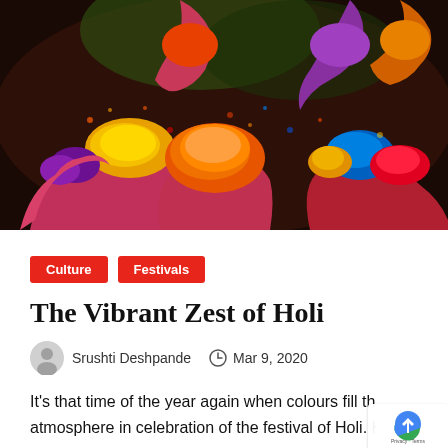[Figure (photo): Hands holding vibrant Holi colored powders — orange, yellow, purple, red, blue — against a dark background]
Culture
Festivals
The Vibrant Zest of Holi
Srushti Deshpande   Mar 9, 2020
It's that time of the year again when colours fill the atmosphere in celebration of the festival of Holi. Holi